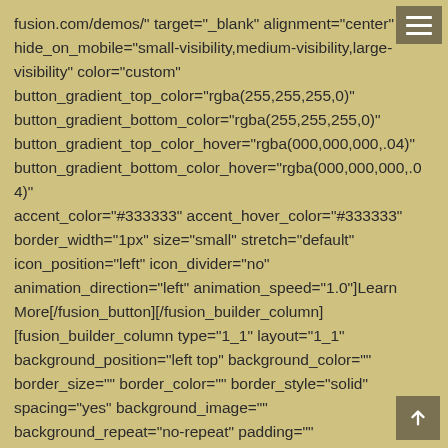fusion.com/demos/" target="_blank" alignment="center" hide_on_mobile="small-visibility,medium-visibility,large-visibility" color="custom" button_gradient_top_color="rgba(255,255,255,0)" button_gradient_bottom_color="rgba(255,255,255,0)" button_gradient_top_color_hover="rgba(000,000,000,.04)" button_gradient_bottom_color_hover="rgba(000,000,000,.04)" accent_color="#333333" accent_hover_color="#333333" border_width="1px" size="small" stretch="default" icon_position="left" icon_divider="no" animation_direction="left" animation_speed="1.0"]Learn More[/fusion_button][/fusion_builder_column] [fusion_builder_column type="1_1" layout="1_1" background_position="left top" background_color="" border_size="" border_color="" border_style="solid" spacing="yes" background_image="" background_repeat="no-repeat" padding=""